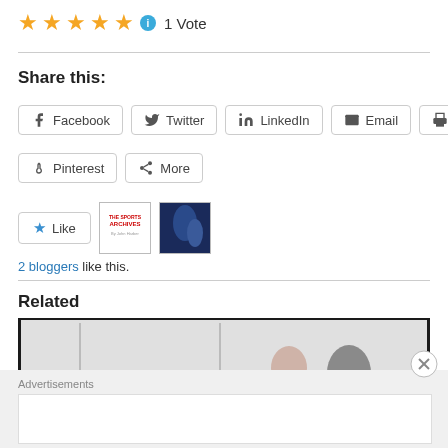★★★★★ ℹ 1 Vote
Share this:
Facebook  Twitter  LinkedIn  Email  Print
Pinterest  More
★ Like
2 bloggers like this.
Related
[Figure (photo): Related article image, partially visible, showing a light background with partial figure]
Advertisements